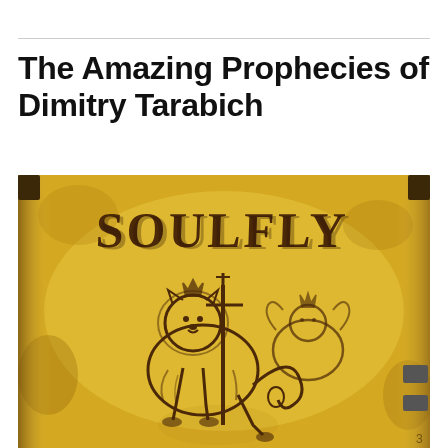The Amazing Prophecies of Dimitry Tarabich
[Figure (illustration): An aged, yellowed parchment or book cover with dark brown stylized text reading 'SOULFLY' at the top, and a detailed illustration of a lion holding a staff or cross below it, rendered in a medieval manuscript or heavy metal album art style.]